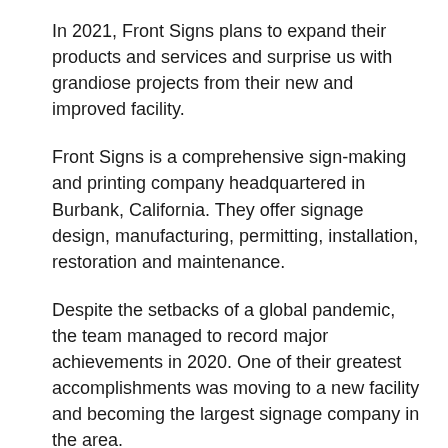In 2021, Front Signs plans to expand their products and services and surprise us with grandiose projects from their new and improved facility.
Front Signs is a comprehensive sign-making and printing company headquartered in Burbank, California. They offer signage design, manufacturing, permitting, installation, restoration and maintenance.
Despite the setbacks of a global pandemic, the team managed to record major achievements in 2020. One of their greatest accomplishments was moving to a new facility and becoming the largest signage company in the area.
Front Signs
3520 Valhalla Dr.
Burbank, CA 91505
844-833-1188